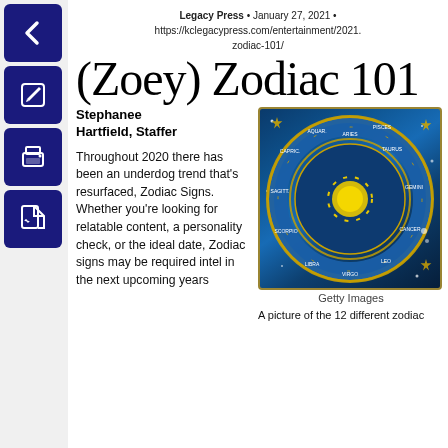Legacy Press • January 27, 2021 • https://kclegacypress.com/entertainment/2021.zodiac-101/
(Zoey) Zodiac 101
Stephanee Hartfield, Staffer
Throughout 2020 there has been an underdog trend that's resurfaced, Zodiac Signs. Whether you're looking for relatable content, a personality check, or the ideal date, Zodiac signs may be required intel in the next upcoming years
[Figure (photo): A circular zodiac wheel chart with golden border on blue starry background, showing 12 zodiac signs]
Getty Images
A picture of the 12 different zodiac